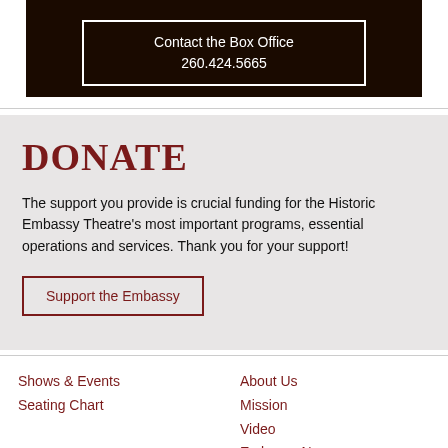[Figure (photo): Dark interior photo of a theatre stage with a box office contact overlay showing 'Contact the Box Office 260.424.5665']
DONATE
The support you provide is crucial funding for the Historic Embassy Theatre's most important programs, essential operations and services. Thank you for your support!
Support the Embassy
Shows & Events
Seating Chart
About Us
Mission
Video
Embassy News